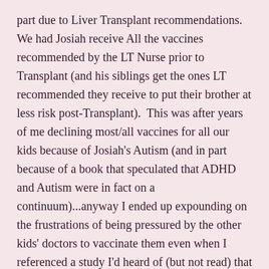part due to Liver Transplant recommendations. We had Josiah receive All the vaccines recommended by the LT Nurse prior to Transplant (and his siblings get the ones LT recommended they receive to put their brother at less risk post-Transplant). This was after years of me declining most/all vaccines for all our kids because of Josiah's Autism (and in part because of a book that speculated that ADHD and Autism were in fact on a continuum)...anyway I ended up expounding on the frustrations of being pressured by the other kids' doctors to vaccinate them even when I referenced a study I'd heard of (but not read) that purported to show the difference in autism between Amish and general populations. This doctor said that she and J's PCP are strong believers in an association with